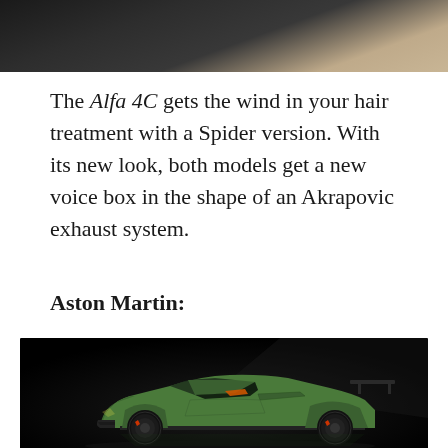[Figure (photo): Close-up photo of a dark/black surface, appears to be interior or exterior detail of a car, with wooden or leather trim visible at edge]
The Alfa 4C gets the wind in your hair treatment with a Spider version. With its new look, both models get a new voice box in the shape of an Akrapovic exhaust system.
Aston Martin:
[Figure (photo): Photo of a green Aston Martin Vulcan supercar on a dark background, side profile view showing aggressive aerodynamic bodywork, large rear wing, and orange interior accents]